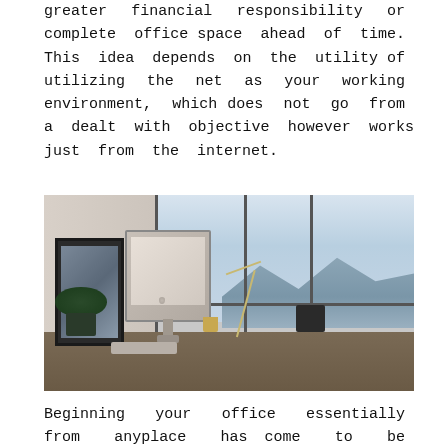greater financial responsibility or complete office space ahead of time. This idea depends on the utility of utilizing the net as your working environment, which does not go from a dealt with objective however works just from the internet.
[Figure (photo): A modern office desk with an iMac computer, framed artwork, a desk lamp, small plant, and city skyline visible through large floor-to-ceiling windows.]
Beginning your office essentially from anyplace has come to be plausible with the start of present day innovation. Possibly your home, coffeehouse relax, at the sea shore or maybe a migrating lorry, yet the solitary point that is fundamental is a connected work environment away from aggravations. No working